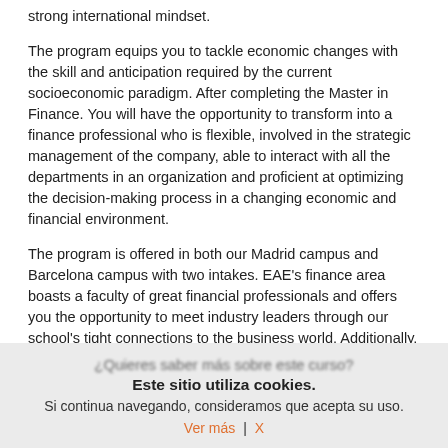strong international mindset.
The program equips you to tackle economic changes with the skill and anticipation required by the current socioeconomic paradigm. After completing the Master in Finance. You will have the opportunity to transform into a finance professional who is flexible, involved in the strategic management of the company, able to interact with all the departments in an organization and proficient at optimizing the decision-making process in a changing economic and financial environment.
The program is offered in both our Madrid campus and Barcelona campus with two intakes. EAE's finance area boasts a faculty of great financial professionals and offers you the opportunity to meet industry leaders through our school's tight connections to the business world. Additionally, each year the program hosts students from over 30 nationalities
¿Quieres saber más sobre este curso?
Este sitio utiliza cookies.
Si continua navegando, consideramos que acepta su uso.
Ver más  |  X